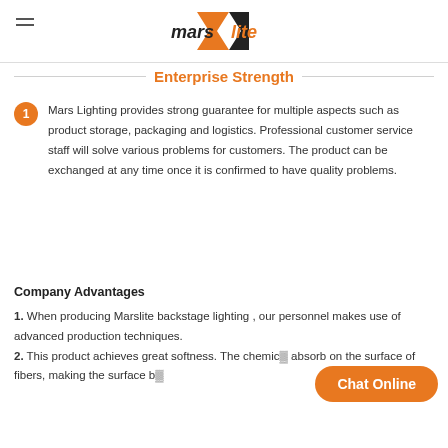[Figure (logo): Marslite company logo with orange arrow and black triangle]
Enterprise Strength
Mars Lighting provides strong guarantee for multiple aspects such as product storage, packaging and logistics. Professional customer service staff will solve various problems for customers. The product can be exchanged at any time once it is confirmed to have quality problems.
Company Advantages
1. When producing Marslite backstage lighting , our personnel makes use of advanced production techniques.
2. This product achieves great softness. The chemic absorb on the surface of fibers, making the surface b